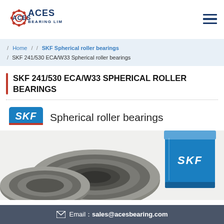[Figure (logo): ACES Bearing Limited logo with red gear icon and blue text]
Home / / SKF Spherical roller bearings / SKF 241/530 ECA/W33 Spherical roller bearings
SKF 241/530 ECA/W33 SPHERICAL ROLLER BEARINGS
[Figure (photo): SKF Spherical roller bearings product image showing blue SKF branded box and spherical roller bearing component]
Email： sales@acesbearing.com